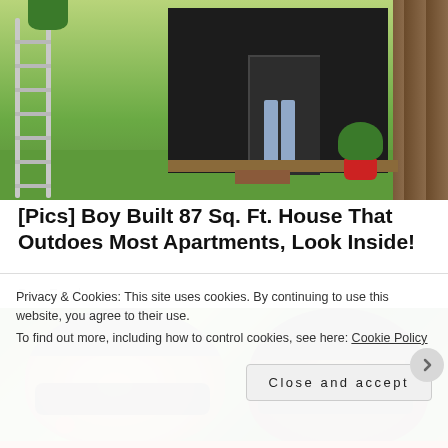[Figure (photo): Photo of a small black shed/tiny house in a backyard with green grass, a ladder on the left, a person's legs visible in the doorway, a red potted plant on the right, and a wooden fence in the background.]
[Pics] Boy Built 87 Sq. Ft. House That Outdoes Most Apartments, Look Inside!
BuzzFond
[Figure (photo): Photo of two people outdoors with green trees/shrubs in the background. On the left is a man with short gray hair wearing dark sunglasses. On the right is a woman with dark hair in a ponytail also wearing sunglasses.]
Privacy & Cookies: This site uses cookies. By continuing to use this website, you agree to their use.
To find out more, including how to control cookies, see here: Cookie Policy
Close and accept